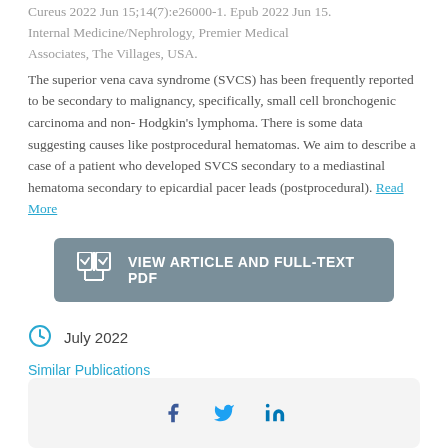Cureus 2022 Jun 15;14(7):e26000-1. Epub 2022 Jun 15. Internal Medicine/Nephrology, Premier Medical Associates, The Villages, USA.
The superior vena cava syndrome (SVCS) has been frequently reported to be secondary to malignancy, specifically, small cell bronchogenic carcinoma and non-Hodgkin's lymphoma. There is some data suggesting causes like postprocedural hematomas. We aim to describe a case of a patient who developed SVCS secondary to a mediastinal hematoma secondary to epicardial pacer leads (postprocedural). Read More
[Figure (other): Button: VIEW ARTICLE AND FULL-TEXT PDF with open book icon]
July 2022
Similar Publications
[Figure (other): Social sharing icons: Facebook, Twitter, LinkedIn]